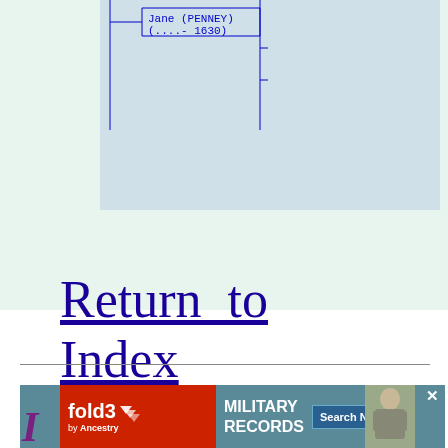[Figure (other): Genealogy chart snippet showing Jane (PENNEY) node with connecting lines, dates (....-1630), on a light blue-gray background panel]
Return to Index
[Figure (infographic): fold3 by Ancestry advertisement banner: MILITARY RECORDS, Search Now button, close X button, soldier photo]